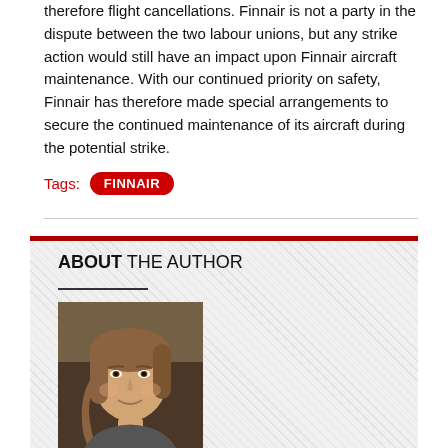therefore flight cancellations. Finnair is not a party in the dispute between the two labour unions, but any strike action would still have an impact upon Finnair aircraft maintenance. With our continued priority on safety, Finnair has therefore made special arrangements to secure the continued maintenance of its aircraft during the potential strike.
Tags: FINNAIR
ABOUT THE AUTHOR
[Figure (photo): Headshot photo of Tatiana Rokou, a woman with shoulder-length brown hair]
Tatiana Rokou
News Editor